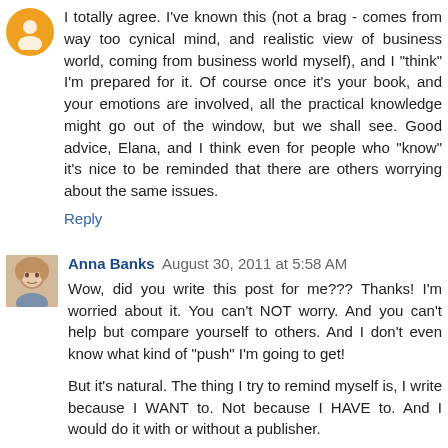I totally agree. I've known this (not a brag - comes from way too cynical mind, and realistic view of business world, coming from business world myself), and I "think" I'm prepared for it. Of course once it's your book, and your emotions are involved, all the practical knowledge might go out of the window, but we shall see. Good advice, Elana, and I think even for people who "know" it's nice to be reminded that there are others worrying about the same issues.
Reply
Anna Banks  August 30, 2011 at 5:58 AM
Wow, did you write this post for me??? Thanks! I'm worried about it. You can't NOT worry. And you can't help but compare yourself to others. And I don't even know what kind of "push" I'm going to get!
But it's natural. The thing I try to remind myself is, I write because I WANT to. Not because I HAVE to. And I would do it with or without a publisher.